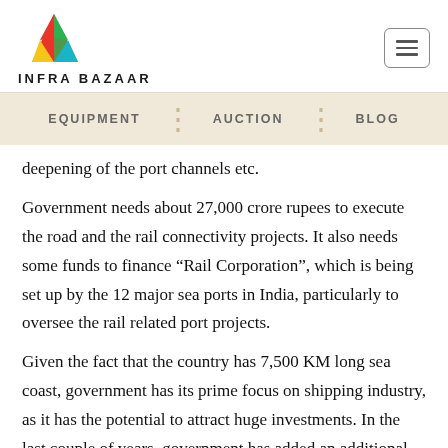INFRA BAZAAR
EQUIPMENT | AUCTION | BLOG
deepening of the port channels etc.
Government needs about 27,000 crore rupees to execute the road and the rail connectivity projects. It also needs some funds to finance “Rail Corporation”, which is being set up by the 12 major sea ports in India, particularly to oversee the rail related port projects.
Given the fact that the country has 7,500 KM long sea coast, government has its prime focus on shipping industry, as it has the potential to attract huge investments. In the last couple of years, government has added an additional 159.65 MT capacity, with 18,000 crore worth completed